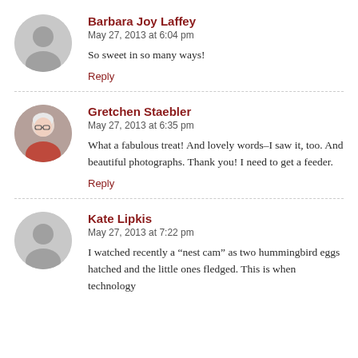[Figure (illustration): Gray default avatar circle icon for Barbara Joy Laffey]
Barbara Joy Laffey
May 27, 2013 at 6:04 pm
So sweet in so many ways!
Reply
[Figure (photo): Profile photo of Gretchen Staebler – woman with white hair and glasses, red jacket]
Gretchen Staebler
May 27, 2013 at 6:35 pm
What a fabulous treat! And lovely words–I saw it, too. And beautiful photographs. Thank you! I need to get a feeder.
Reply
[Figure (illustration): Gray default avatar circle icon for Kate Lipkis]
Kate Lipkis
May 27, 2013 at 7:22 pm
I watched recently a “nest cam” as two hummingbird eggs hatched and the little ones fledged. This is when technology